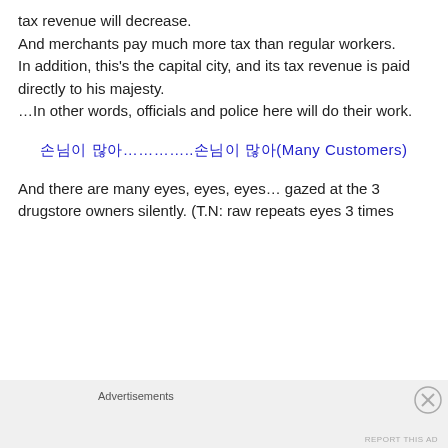tax revenue will decrease.
And merchants pay much more tax than regular workers.
In addition, this's the capital city, and its tax revenue is paid directly to his majesty.
…In other words, officials and police here will do their work.
손님이 많아………….손님이 많아(Many Customers)
And there are many eyes, eyes, eyes… gazed at the 3 drugstore owners silently. (T.N: raw repeats eyes 3 times
Advertisements